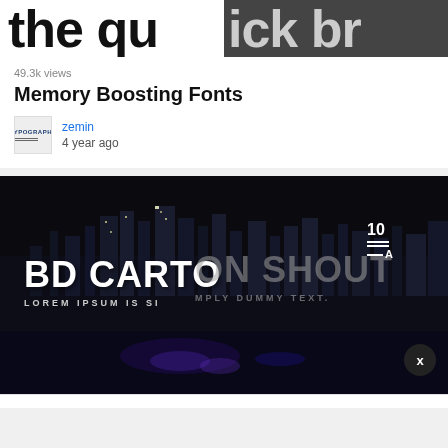[Figure (screenshot): Top half of a font/typography article image showing large bold text 'the quick br' on split white and dark grey background, partially cropped]
49.3k views
Memory Boosting Fonts
[Figure (photo): Small thumbnail avatar image showing typography/infographic style logo with text 'TYPOGRAPHY']
zemin
4 year ago
[Figure (screenshot): Dark night cityscape thumbnail with large bold text overlay reading 'BD CARTOON SHOUT' and smaller text 'LOREM IPSUM IS SIMPLY DUMMY TEXT.' with a font size icon showing 10 and letter A with lines, and an X close button in bottom right]